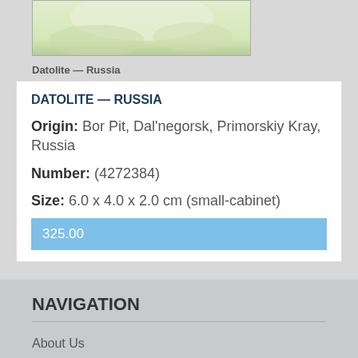[Figure (photo): Partial photo of a datolite mineral specimen showing greenish-white coloring, cropped at the top of the page]
Datolite — Russia
DATOLITE — RUSSIA
Origin: Bor Pit, Dal'negorsk, Primorskiy Kray, Russia
Number: (4272384)
Size: 6.0 x 4.0 x 2.0 cm (small-cabinet)
325.00
NAVIGATION
About Us
Events
Return Policy
Disclaimer
Contact Us